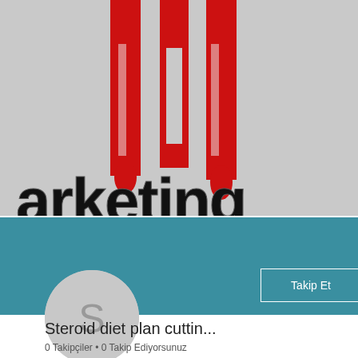[Figure (logo): Partial 'Marketing' logo text in 3D red and black lettering on gray background, showing 'arketing' with dripping red M letterforms and black glossy lowercase letters]
[Figure (screenshot): Social media profile card with teal header, avatar circle with letter S, Takip Et (Follow) button with border, three-dot menu icon]
Steroid diet plan cuttin...
0 Takipçiler • 0 Takip Ediyorsunuz
[Figure (screenshot): Right panel showing blue square and olive/gold color bar, partial profile section]
Profil
Katılma tarihi: 5 Ma